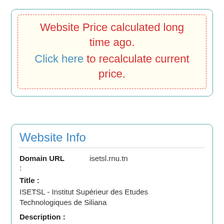Website Price calculated long time ago. Click here to recalculate current price.
Website Info
Domain URL : isetsl.rnu.tn
Title :
ISETSL - Institut Supérieur des Etudes Technologiques de Siliana
Description :